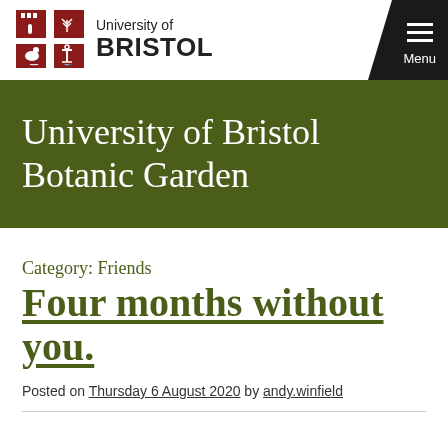[Figure (logo): University of Bristol logo with shield and text]
University of Bristol Botanic Garden
Category: Friends
Four months without you.
Posted on Thursday 6 August 2020 by andy.winfield